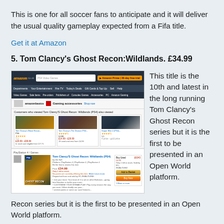This is one for all soccer fans to anticipate and it will deliver the usual quality gameplay expected from a Fifa title.
Get it at Amazon
5. Tom Clancy's Ghost Recon:Wildlands. £34.99
[Figure (screenshot): Amazon product page for Tom Clancy's Ghost Recon Wildlands PS4, showing product listing with price £34.99, customer reviews section, add to basket and buy now buttons.]
This title is the 10th and latest in the long running Tom Clancy's Ghost Recon series but it is the first to be presented in an Open World platform.